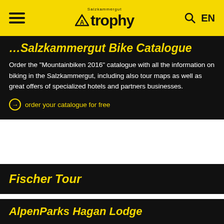Atrophy (logo) | EN
Salzkammergut Bike Catalogue
Order the "Mountainbiken 2016" catalogue with all the information on biking in the Salzkammergut, including also tour maps as well as great offers of specialized hotels and partners businesses.
order your catalogue for free
Fischer Tour
AlpenParks Hagan Lodge